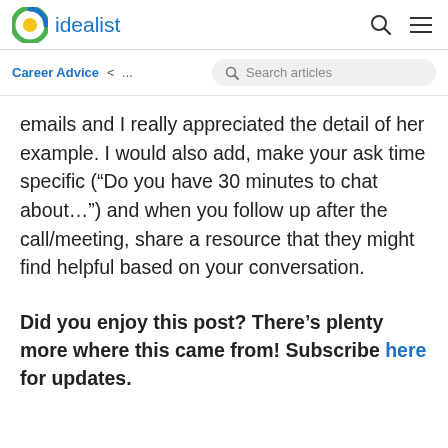idealist
Career Advice < ...
emails and I really appreciated the detail of her example. I would also add, make your ask time specific (“Do you have 30 minutes to chat about…”) and when you follow up after the call/meeting, share a resource that they might find helpful based on your conversation.
Did you enjoy this post? There’s plenty more where this came from! Subscribe here for updates.